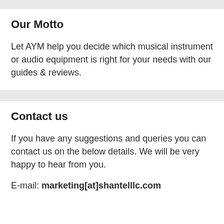Our Motto
Let AYM help you decide which musical instrument or audio equipment is right for your needs with our guides & reviews.
Contact us
If you have any suggestions and queries you can contact us on the below details. We will be very happy to hear from you.
E-mail: marketing[at]shantelllc.com